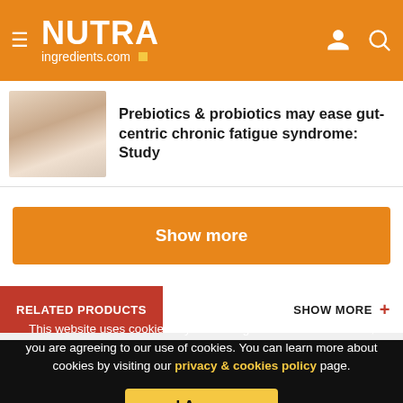NUTRAingredients.com
Prebiotics & probiotics may ease gut-centric chronic fatigue syndrome: Study
Show more
RELATED PRODUCTS
SHOW MORE +
This website uses cookies. By continuing to browse our website, you are agreeing to our use of cookies. You can learn more about cookies by visiting our privacy & cookies policy page.
I Agree